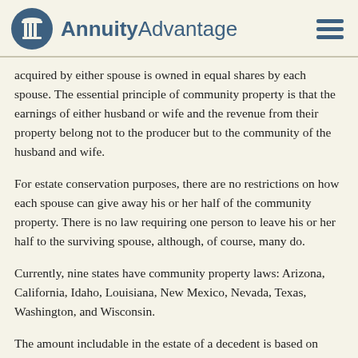AnnuityAdvantage
acquired by either spouse is owned in equal shares by each spouse. The essential principle of community property is that the earnings of either husband or wife and the revenue from their property belong not to the producer but to the community of the husband and wife.
For estate conservation purposes, there are no restrictions on how each spouse can give away his or her half of the community property. There is no law requiring one person to leave his or her half to the surviving spouse, although, of course, many do.
Currently, nine states have community property laws: Arizona, California, Idaho, Louisiana, New Mexico, Nevada, Texas, Washington, and Wisconsin.
The amount includable in the estate of a decedent is based on